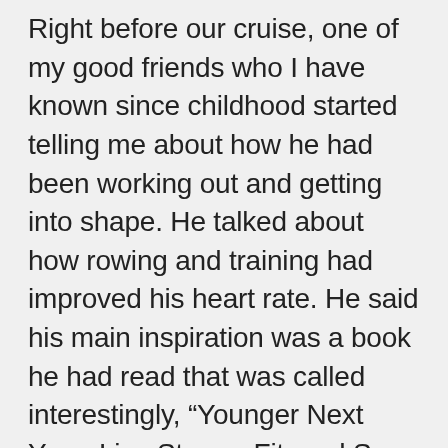Right before our cruise, one of my good friends who I have known since childhood started telling me about how he had been working out and getting into shape. He talked about how rowing and training had improved his heart rate. He said his main inspiration was a book he had read that was called interestingly, “Younger Next Year: Live Strong, Fit, and Sexy Until You’re 80 and Beyond.” My friend sent the book to me for my birthday and I started reading it three days before the cruise.
As a result of reading the first few chapters I decided to use this as motivation